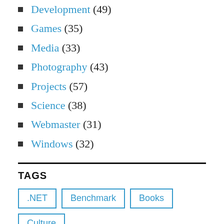Development (49)
Games (35)
Media (33)
Photography (43)
Projects (57)
Science (38)
Webmaster (31)
Windows (32)
TAGS
.NET  Benchmark  Books  Culture  High DPI  History  HTML5  Java